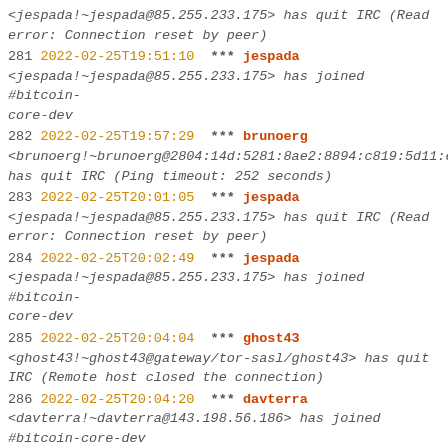<jespada!~jespada@85.255.233.175> has quit IRC (Read error: Connection reset by peer)
281 2022-02-25T19:51:10 *** jespada
<jespada!~jespada@85.255.233.175> has joined #bitcoin-core-dev
282 2022-02-25T19:57:29 *** brunoerg
<brunoerg!~brunoerg@2804:14d:5281:8ae2:8894:c819:5d11:e2e> has quit IRC (Ping timeout: 252 seconds)
283 2022-02-25T20:01:05 *** jespada
<jespada!~jespada@85.255.233.175> has quit IRC (Read error: Connection reset by peer)
284 2022-02-25T20:02:49 *** jespada
<jespada!~jespada@85.255.233.175> has joined #bitcoin-core-dev
285 2022-02-25T20:04:04 *** ghost43
<ghost43!~ghost43@gateway/tor-sasl/ghost43> has quit IRC (Remote host closed the connection)
286 2022-02-25T20:04:20 *** davterra
<davterra!~davterra@143.198.56.186> has joined #bitcoin-core-dev
287 2022-02-25T20:04:49 *** ghost43
<ghost43!~ghost43@gateway/tor-sasl/ghost43> has joined #bitcoin-core-dev
288 2022-02-25T20:06:25 <dongcarl> jamesob, ryanofsky: Wondering how indexes interacts with AssumeUTXO, when AssumUTXO is enabled, will the index only ever follow the snapshot chainstate or will it change?